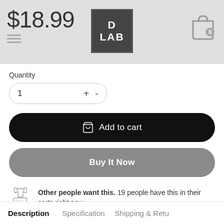$18.99 | D LAB | Cart: 0
Quantity
1
Add to cart
Buy It Now
Other people want this. 19 people have this in their carts right now.
Want it delivered by Monday, 29 August ?
Order within 11 Hours 08 Minutes 37 Seconds
Description | Specification | Shipping & Return